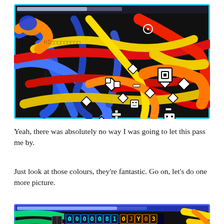[Figure (screenshot): Screenshot of a colorful abstract game or drawing application on a dark/black background. Vivid brush strokes in blue, red, yellow, orange fill the screen in overlapping diagonal streaks. White game-cursor icons (diamond shapes, crosshair, smiley faces) are scattered across the image. A cyan/light-blue border frames the screenshot, with a dark title bar and progress/loading bar at the top.]
Yeah, there was absolutely no way I was going to let this pass me by.
Just look at those colours, they’re fantastic. Go on, let’s do one more picture.
[Figure (screenshot): Partial screenshot of another colorful abstract game image, showing bright green, yellow, orange streaks on dark background with pixel-art style score/counter display showing '00000081 0JY03' in colorful block digits, framed with a blue/purple border. Only the top portion is visible.]